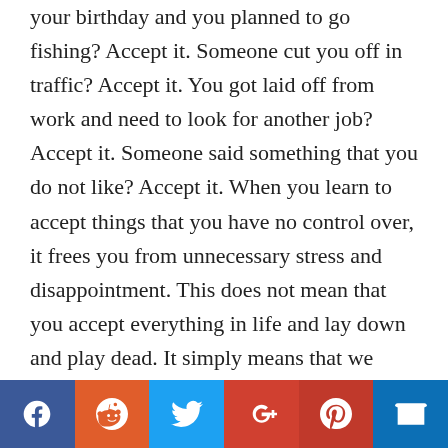your birthday and you planned to go fishing? Accept it. Someone cut you off in traffic? Accept it. You got laid off from work and need to look for another job? Accept it. Someone said something that you do not like? Accept it. When you learn to accept things that you have no control over, it frees you from unnecessary stress and disappointment. This does not mean that you accept everything in life and lay down and play dead. It simply means that we should develop the wisdom to know when certain things
[Figure (infographic): Social sharing bar with icons for Facebook, Reddit, Twitter, Google+, Pinterest, and an envelope/email icon]